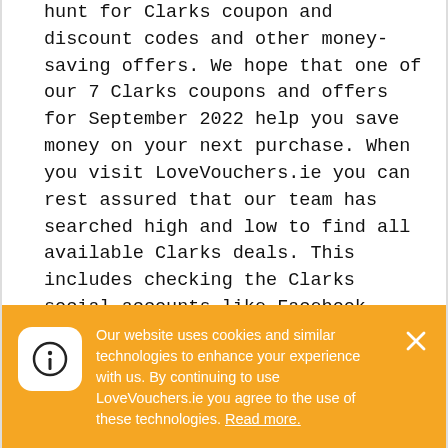hunt for Clarks coupon and discount codes and other money-saving offers. We hope that one of our 7 Clarks coupons and offers for September 2022 help you save money on your next purchase. When you visit LoveVouchers.ie you can rest assured that our team has searched high and low to find all available Clarks deals. This includes checking the Clarks social accounts like Facebook, Twitter and Instagram, visiting blogs and forums related to Clarks, and even checking other top deal sites for the latest Clarks coupon codes.

When shopping online for Clarks, it is a good idea to always visit us here at LoveVouchers.ie
Our website uses cookies and similar technologies to enhance your experience with us. By continuing to use LoveVouchers.ie you agree to the use of these technologies. Read more.